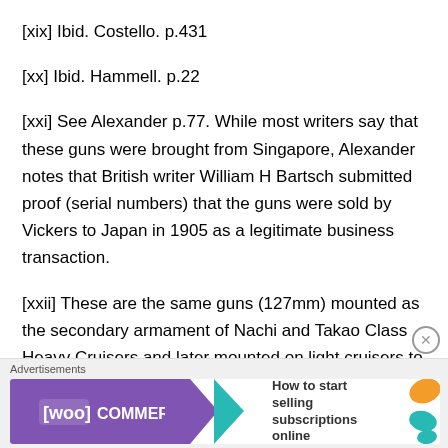[xix] Ibid. Costello. p.431
[xx] Ibid. Hammell. p.22
[xxi] See Alexander p.77. While most writers say that these guns were brought from Singapore, Alexander notes that British writer William H Bartsch submitted proof (serial numbers) that the guns were sold by Vickers to Japan in 1905 as a legitimate business transaction.
[xxii] These are the same guns (127mm) mounted as the secondary armament of Nachi and Takao Class Heavy Cruisers and later mounted on light cruisers to replace the main battery with a more effective anti-aircraft armament.
[Figure (other): WooCommerce advertisement banner: 'How to start selling subscriptions online']